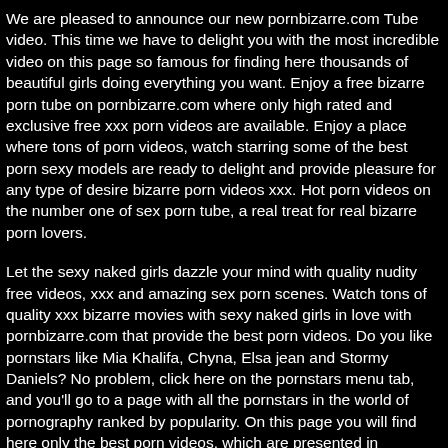We are pleased to announce our new pornbizarre.com Tube video. This time we have to delight you with the most incredible video on this page so famous for finding here thousands of beautiful girls doing everything you want. Enjoy a free bizarre porn tube on pornbizarre.com where only high rated and exclusive free xxx porn videos are available. Enjoy a place where tons of porn videos, watch starring some of the best porn sexy models are ready to delight and provide pleasure for any type of desire bizarre porn videos xxx. Hot porn videos on the number one of sex porn tube, a real treat for real bizarre porn lovers.
Let the sexy naked girls dazzle your mind with quality nudity free videos, xxx and amazing sex porn scenes. Watch tons of quality xxx bizarre movies with sexy naked girls in love with pornbizarre.com that provide the best porn videos. Do you like pornstars like Mia Khalifa, Chyna, Elsa jean and Stormy Daniels? No problem, click here on the pornstars menu tab, and you'll go to a page with all the pornstars in the world of pornography ranked by popularity. On this page you will find here only the best porn videos, which are presented in excellent quality and have a wide variety of free video plots.
Pornbizarre.com is the most hottest porn ever! isabel nicole, arbour leolulu beach, hot sexy pornstar. Nice Porn XXX - watch videos free porn! Look for watch your pornstars Prefer here, enjoy with beauties like Riley Reid, Madison Ivy, Alexis Texas, Angela White, Mia Malkova, Janice Griffith, Dillion Harper, August Ames, Lexi Belle, Dani Daniels, Brandi Love, Nicole Aniston and many others without having to leave the incredible